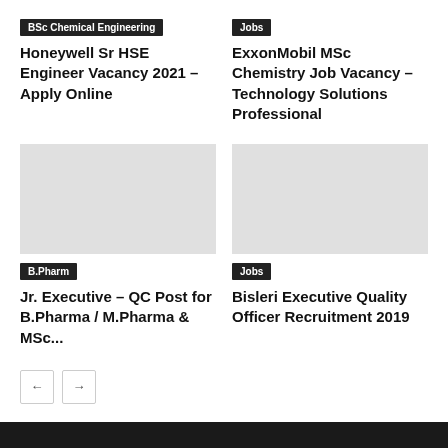BSc Chemical Engineering
Honeywell Sr HSE Engineer Vacancy 2021 – Apply Online
Jobs
ExxonMobil MSc Chemistry Job Vacancy – Technology Solutions Professional
B.Pharm
Jr. Executive – QC Post for B.Pharma / M.Pharma & MSc...
Jobs
Bisleri Executive Quality Officer Recruitment 2019